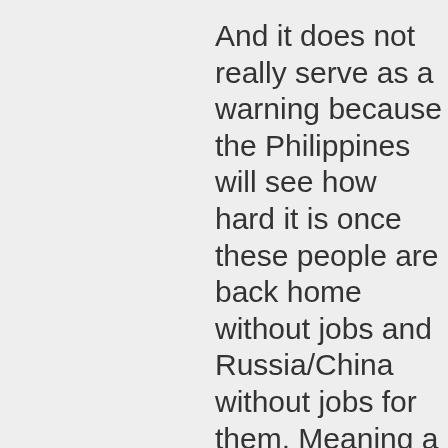And it does not really serve as a warning because the Philippines will see how hard it is once these people are back home without jobs and Russia/China without jobs for them. Meaning a